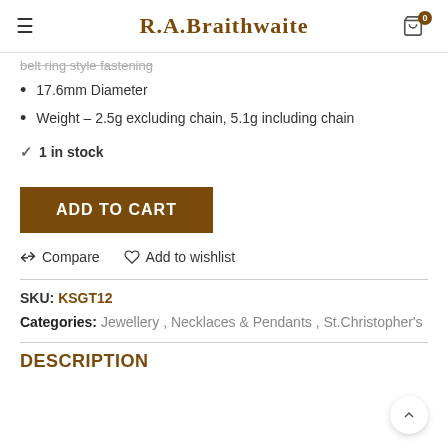R.A.Braithwaite
belt ring style fastening
17.6mm Diameter
Weight – 2.5g excluding chain, 5.1g including chain
✓ 1 in stock
ADD TO CART
Compare   Add to wishlist
SKU: KSGT12
Categories: Jewellery , Necklaces & Pendants , St.Christopher's
DESCRIPTION